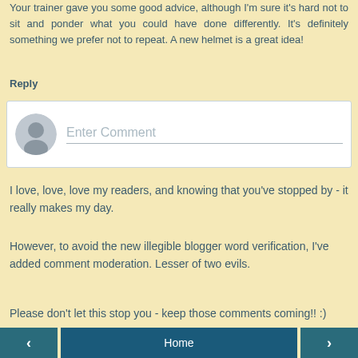Your trainer gave you some good advice, although I'm sure it's hard not to sit and ponder what you could have done differently. It's definitely something we prefer not to repeat. A new helmet is a great idea!
Reply
[Figure (other): Comment input box with avatar placeholder and 'Enter Comment' text field]
I love, love, love my readers, and knowing that you've stopped by - it really makes my day.
However, to avoid the new illegible blogger word verification, I've added comment moderation. Lesser of two evils.
Please don't let this stop you - keep those comments coming!! :)
< Home >